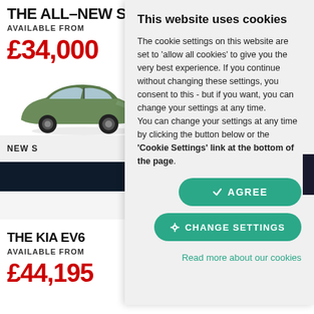THE ALL–NEW S
AVAILABLE FROM
£34,000
[Figure (photo): Partial view of a green Kia car on white background]
NEW S
THE KIA EV6
AVAILABLE FROM
£44,195
This website uses cookies
The cookie settings on this website are set to 'allow all cookies' to give you the very best experience. If you continue without changing these settings, you consent to this - but if you want, you can change your settings at any time. You can change your settings at any time by clicking the button below or the 'Cookie Settings' link at the bottom of the page.
AGREE
CHANGE SETTINGS
Read more about our cookies